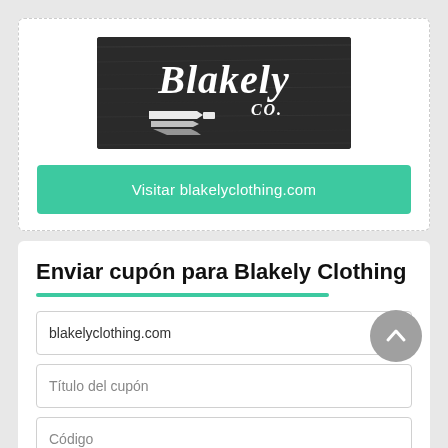[Figure (logo): Blakely Co. logo on dark wooden background with script text and decorative elements]
Visitar blakelyclothing.com
Enviar cupón para Blakely Clothing
blakelyclothing.com
Título del cupón
Código